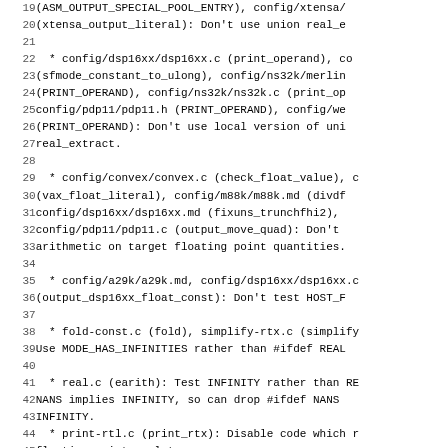Source code listing with line numbers 19-50, showing changelog/commit notes for a compiler project (GCC). Lines cover topics: ASM_OUTPUT_SPECIAL_POOL_ENTRY, xtensa_output_literal, dsp16xx, ns32k, pdp11, convex, m88k, a29k, fold-const, real.c, print-rtl, libgcc2, config/1750a.